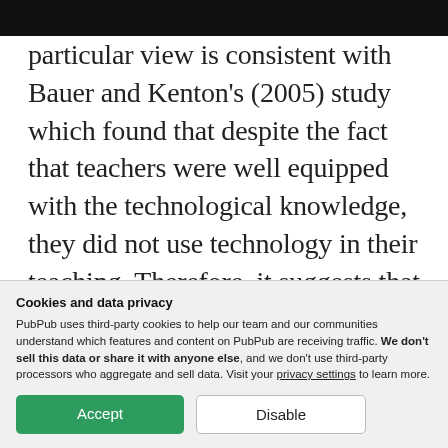particular view is consistent with Bauer and Kenton's (2005) study which found that despite the fact that teachers were well equipped with the technological knowledge, they did not use technology in their teaching. Therefore, it suggests that other factors might contribute to the resistance to technology use, and the
Cookies and data privacy
PubPub uses third-party cookies to help our team and our communities understand which features and content on PubPub are receiving traffic. We don't sell this data or share it with anyone else, and we don't use third-party processors who aggregate and sell data. Visit your privacy settings to learn more.